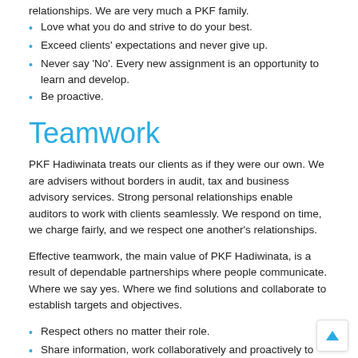relationships. We are very much a PKF family.
Love what you do and strive to do your best.
Exceed clients' expectations and never give up.
Never say 'No'. Every new assignment is an opportunity to learn and develop.
Be proactive.
Teamwork
PKF Hadiwinata treats our clients as if they were our own. We are advisers without borders in audit, tax and business advisory services. Strong personal relationships enable auditors to work with clients seamlessly. We respond on time, we charge fairly, and we respect one another's relationships.
Effective teamwork, the main value of PKF Hadiwinata, is a result of dependable partnerships where people communicate. Where we say yes. Where we find solutions and collaborate to establish targets and objectives.
Respect others no matter their role.
Share information, work collaboratively and proactively to